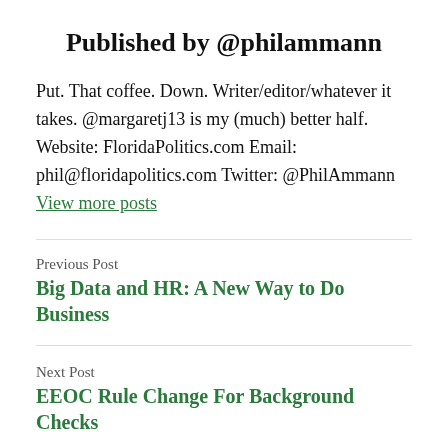Published by @philammann
Put. That coffee. Down. Writer/editor/whatever it takes. @margaretj13 is my (much) better half. Website: FloridaPolitics.com Email: phil@floridapolitics.com Twitter: @PhilAmmann View more posts
Previous Post
Big Data and HR: A New Way to Do Business
Next Post
EEOC Rule Change For Background Checks